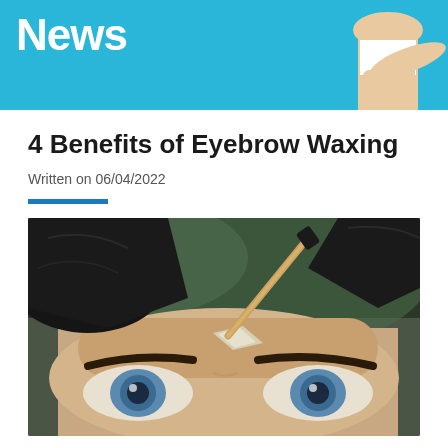News
4 Benefits of Eyebrow Waxing
Written on 06/04/2022
[Figure (photo): Close-up photo of a person receiving eyebrow waxing treatment. A gloved hand in black latex gloves holds a wooden wax applicator stick with clear wax applied above the eyebrow. The subject has blue eyes and dark eyebrows, looking upward.]